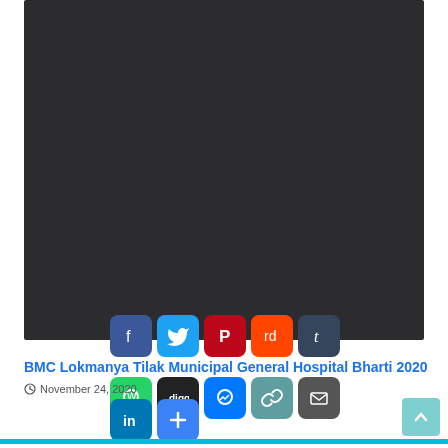[Figure (photo): Dark/black image area taking up the upper portion of the page]
[Figure (infographic): Row of social media sharing icons: Facebook, Twitter, Pinterest, Reddit, Tumblr (top row); WhatsApp, Digg, Messenger, Copy link, Email (second row); LinkedIn, More (third row)]
BMC Lokmanya Tilak Municipal General Hospital Bharti 2020
November 24, 2020